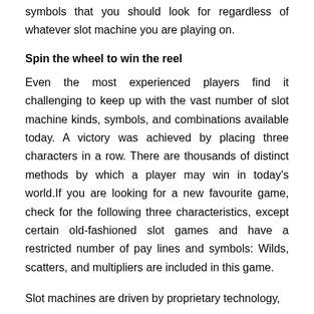symbols that you should look for regardless of whatever slot machine you are playing on.
Spin the wheel to win the reel
Even the most experienced players find it challenging to keep up with the vast number of slot machine kinds, symbols, and combinations available today. A victory was achieved by placing three characters in a row. There are thousands of distinct methods by which a player may win in today's world.If you are looking for a new favourite game, check for the following three characteristics, except certain old-fashioned slot games and have a restricted number of pay lines and symbols: Wilds, scatters, and multipliers are included in this game.
Slot machines are driven by proprietary technology,